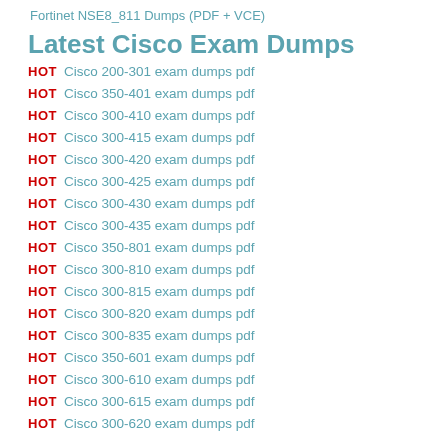Fortinet NSE8_811 Dumps (PDF + VCE)
Latest Cisco Exam Dumps
HOT Cisco 200-301 exam dumps pdf
HOT Cisco 350-401 exam dumps pdf
HOT Cisco 300-410 exam dumps pdf
HOT Cisco 300-415 exam dumps pdf
HOT Cisco 300-420 exam dumps pdf
HOT Cisco 300-425 exam dumps pdf
HOT Cisco 300-430 exam dumps pdf
HOT Cisco 300-435 exam dumps pdf
HOT Cisco 350-801 exam dumps pdf
HOT Cisco 300-810 exam dumps pdf
HOT Cisco 300-815 exam dumps pdf
HOT Cisco 300-820 exam dumps pdf
HOT Cisco 300-835 exam dumps pdf
HOT Cisco 350-601 exam dumps pdf
HOT Cisco 300-610 exam dumps pdf
HOT Cisco 300-615 exam dumps pdf
HOT Cisco 300-620 exam dumps pdf